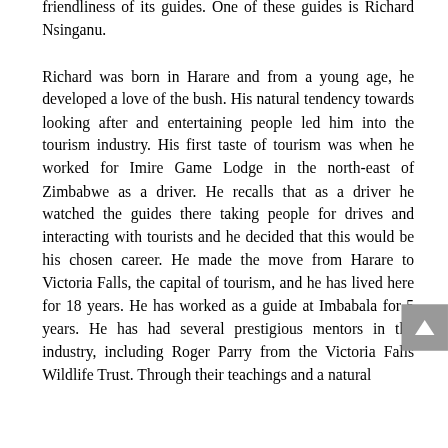friendliness of its guides. One of these guides is Richard Nsinganu.
Richard was born in Harare and from a young age, he developed a love of the bush. His natural tendency towards looking after and entertaining people led him into the tourism industry. His first taste of tourism was when he worked for Imire Game Lodge in the north-east of Zimbabwe as a driver. He recalls that as a driver he watched the guides there taking people for drives and interacting with tourists and he decided that this would be his chosen career. He made the move from Harare to Victoria Falls, the capital of tourism, and he has lived here for 18 years. He has worked as a guide at Imbabala for 5 years. He has had several prestigious mentors in the industry, including Roger Parry from the Victoria Falls Wildlife Trust. Through their teachings and a natural